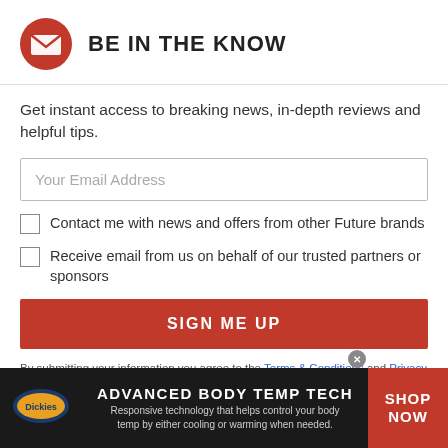BE IN THE KNOW
Get instant access to breaking news, in-depth reviews and helpful tips.
Your Email Address
Contact me with news and offers from other Future brands
Receive email from us on behalf of our trusted partners or sponsors
SIGN ME UP
By submitting your information you agree to the Terms & Conditions and Privacy Policy and are aged 16 or over.
[Figure (infographic): Dickies advertisement banner: ADVANCED BODY TEMP TECH. Responsive technology that helps control your body temp by either cooling or warming when needed. SHOP NOW button on right.]